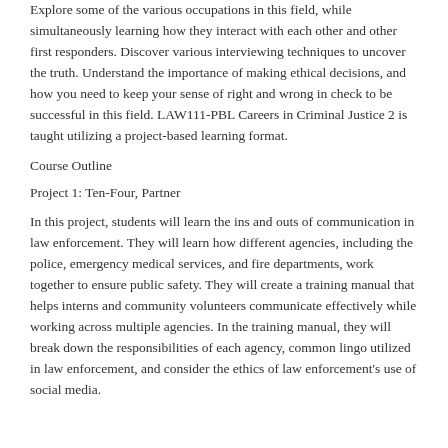Explore some of the various occupations in this field, while simultaneously learning how they interact with each other and other first responders. Discover various interviewing techniques to uncover the truth. Understand the importance of making ethical decisions, and how you need to keep your sense of right and wrong in check to be successful in this field. LAW111-PBL Careers in Criminal Justice 2 is taught utilizing a project-based learning format.
Course Outline
Project 1: Ten-Four, Partner
In this project, students will learn the ins and outs of communication in law enforcement. They will learn how different agencies, including the police, emergency medical services, and fire departments, work together to ensure public safety. They will create a training manual that helps interns and community volunteers communicate effectively while working across multiple agencies. In the training manual, they will break down the responsibilities of each agency, common lingo utilized in law enforcement, and consider the ethics of law enforcement's use of social media.